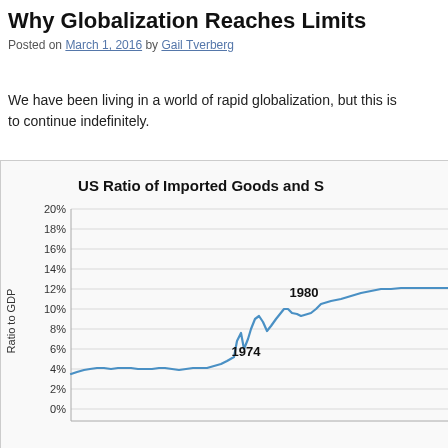Why Globalization Reaches Limits
Posted on March 1, 2016 by Gail Tverberg
We have been living in a world of rapid globalization, but this is to continue indefinitely.
[Figure (continuous-plot): Line chart showing US Ratio of Imported Goods and Services to GDP from roughly 1960 to 2015. Y-axis shows Ratio to GDP from 0% to 20%. The line starts around 3.5% in early 1960s, stays flat around 4-5% through early 1970s, then sharply rises at 1974 marker to about 8%, dips slightly, rises again to about 10.5% at 1980 marker, dips to about 9%, then continues upward trend reaching about 11% at right edge.]